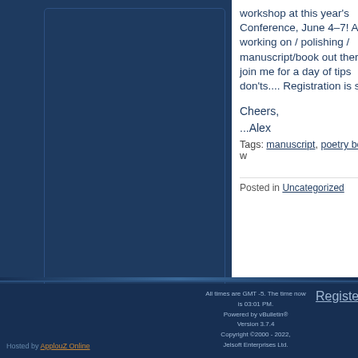workshop at this year's Conference, June 4–7! A working on / polishing / e manuscript/book out there join me for a day of tips a don'ts.... Registration is s
Cheers,
...Alex
Tags: manuscript, poetry book, w
Posted in Uncategorized
All times are GMT -5. The time now is 03:01 PM. Powered by vBulletin® Version 3.7.4 Copyright ©2000 - 2022, Jelsoft Enterprises Ltd.
Hosted by ApplouZ Online